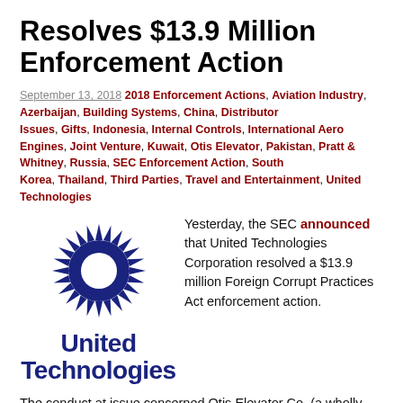Resolves $13.9 Million Enforcement Action
September 13, 2018 2018 Enforcement Actions, Aviation Industry, Azerbaijan, Building Systems, China, Distributor Issues, Gifts, Indonesia, Internal Controls, International Aero Engines, Joint Venture, Kuwait, Otis Elevator, Pakistan, Pratt & Whitney, Russia, SEC Enforcement Action, South Korea, Thailand, Third Parties, Travel and Entertainment, United Technologies
[Figure (logo): United Technologies Corporation logo — dark blue sunburst/gear emblem above bold 'United Technologies' text in dark navy blue]
Yesterday, the SEC announced that United Technologies Corporation resolved a $13.9 million Foreign Corrupt Practices Act enforcement action.
The conduct at issue concerned Otis Elevator Co. (a wholly-owned subsidiary of UTC), Pratt & Whitney (an operating division of UTC), and International Aero Engines (a joint